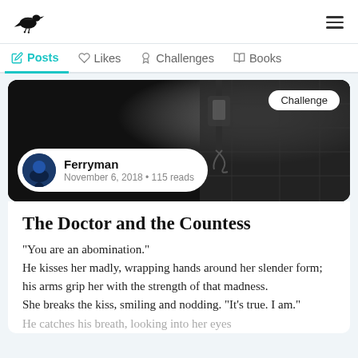Ferryman | Posts | Likes | Challenges | Books
[Figure (screenshot): Dark moody photo of a gothic street lamp and stone wall, used as a header image for the story card. Overlaid with a 'Challenge' badge (top right) and an author pill showing a circular avatar, 'Ferryman', 'November 6, 2018 • 115 reads'.]
The Doctor and the Countess
"You are an abomination."
He kisses her madly, wrapping hands around her slender form; his arms grip her with the strength of that madness.
She breaks the kiss, smiling and nodding. "It's true. I am."
He catches his breath, looking into her eyes